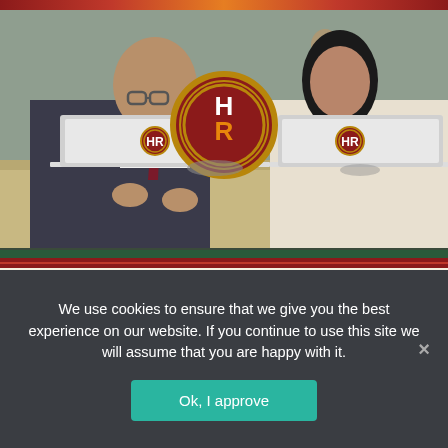[Figure (photo): Office scene with two professionals (man on left, woman on right) working on laptops, with an HR logo badge in the center top area]
Financial Fitness Series
We use cookies to ensure that we give you the best experience on our website. If you continue to use this site we will assume that you are happy with it.
Ok, I approve